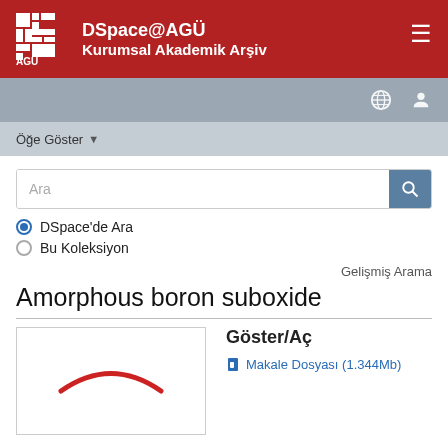DSpace@AGÜ Kurumsal Akademik Arşiv
Öğe Göster
Ara
DSpace'de Ara
Bu Koleksiyon
Gelişmiş Arama
Amorphous boron suboxide
[Figure (other): Thumbnail image of the article with a red arc/curve shape in the center on white background]
Göster/Aç
Makale Dosyası (1.344Mb)